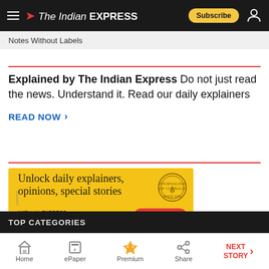The Indian Express
Notes Without Labels
Explained by The Indian Express Do not just read the news. Understand it. Read our daily explainers
READ NOW >
[Figure (infographic): Yellow advertisement banner for The Indian Express subscription. Text reads: Unlock daily explainers, opinions, special stories. WITH AN EXPRESS SUBSCRIPTION AT ₹2.50/DAY* BUY NOW]
TOP CATEGORIES
Home | ePaper | Premium | Share | NEXT STORY